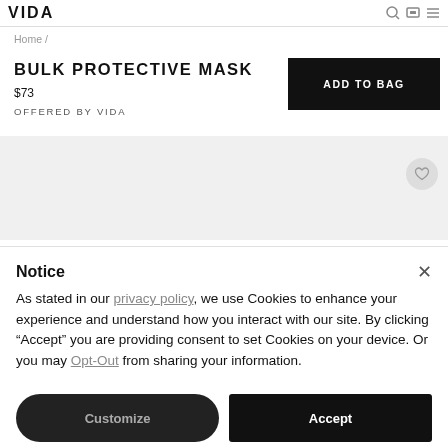Home /
BULK PROTECTIVE MASK
$73
OFFERED BY VIDA
ADD TO BAG
[Figure (other): Light gray image area with wishlist heart button]
Notice
As stated in our privacy policy, we use Cookies to enhance your experience and understand how you interact with our site. By clicking “Accept” you are providing consent to set Cookies on your device. Or you may Opt-Out from sharing your information.
Customize
Accept